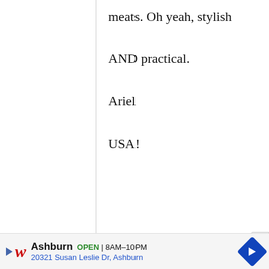meats. Oh yeah, stylish AND practical.

Ariel
USA!
awo
6
December, 2008 - 02:56
permalink
I like the Japanese
I like the Japanese cookbooks. Thanks for the week of give-
Ashburn OPEN | 8AM–10PM
20321 Susan Leslie Dr, Ashburn